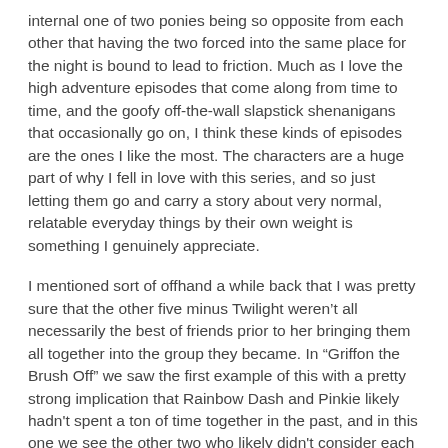internal one of two ponies being so opposite from each other that having the two forced into the same place for the night is bound to lead to friction. Much as I love the high adventure episodes that come along from time to time, and the goofy off-the-wall slapstick shenanigans that occasionally go on, I think these kinds of episodes are the ones I like the most. The characters are a huge part of why I fell in love with this series, and so just letting them go and carry a story about very normal, relatable everyday things by their own weight is something I genuinely appreciate.
I mentioned sort of offhand a while back that I was pretty sure that the other five minus Twilight weren't all necessarily the best of friends prior to her bringing them all together into the group they became. In “Griffon the Brush Off” we saw the first example of this with a pretty strong implication that Rainbow Dash and Pinkie likely hadn't spent a ton of time together in the past, and in this one we see the other two who likely didn't consider each other the best of friends before in Rarity and Applejack. Where the former just needed to give each other a chance to discover how well they gelled together, the latter winds up with considerably more work to come out of it with a stronger bond than before. The two really don't have a lot of common ground to work from, and their radically different approaches to situations shows pretty much throughout